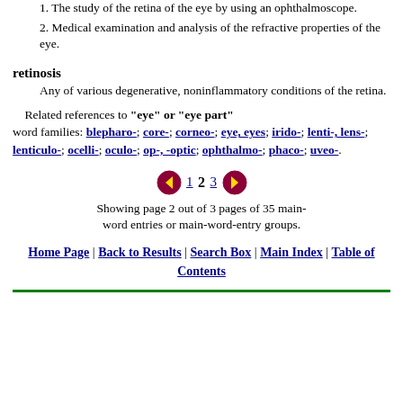1. The study of the retina of the eye by using an ophthalmoscope.
2. Medical examination and analysis of the refractive properties of the eye.
retinosis
Any of various degenerative, noninflammatory conditions of the retina.
Related references to "eye" or "eye part" word families: blepharo-; core-; corneo-; eye, eyes; irido-; lenti-, lens-; lenticulo-; ocelli-; oculo-; op-, -optic; ophthalmo-; phaco-; uveo-.
Showing page 2 out of 3 pages of 35 main-word entries or main-word-entry groups.
Home Page | Back to Results | Search Box | Main Index | Table of Contents